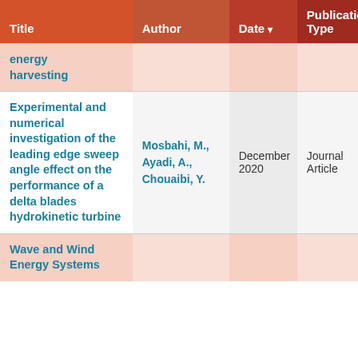| Title | Author | Date | Publication Type |
| --- | --- | --- | --- |
| ...energy harvesting |  |  |  |
| Experimental and numerical investigation of the leading edge sweep angle effect on the performance of a delta blades hydrokinetic turbine | Mosbahi, M., Ayadi, A., Chouaibi, Y. | December 2020 | Journal Article |
| Wave and Wind Energy Systems |  |  |  |